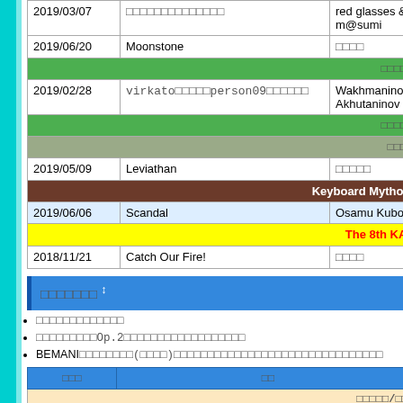| date | title | artist |
| --- | --- | --- |
| 2019/03/07 | □□□□□□□□□□□□□□ | red glasses & m@sumi |
| 2019/06/20 | Moonstone | □□□□ |
| [green header] |  | □□□□□□□□ |
| 2019/02/28 | virkato□□□□□person09□□□□□□ | Wakhmaninov Akhutaninov |
| [green header] |  | □□□□□□□□ |
| [gray header] |  | □□□□□□□ |
| 2019/05/09 | Leviathan | □□□□□ |
| [brown header] |  | Keyboard Mytholog… |
| 2019/06/06 | Scandal | Osamu Kubota |
| [yellow header] |  | The 8th KAC □… |
| 2018/11/21 | Catch Our Fire! | □□□□ |
□□□□□□□ ↕
□□□□□□□□□□□□□
□□□□□□□□□Op.2□□□□□□□□□□□□□□□□□□
BEMANI□□□□□□□□(□□□□)□□□□□□□□□□□□□□□□□□□□□□□□□□□□□□□
| □□□ | □□ |
| --- | --- |
| [peach header] | □□□□□/□□□ |
| □□□□□□□□□□□□□□□□□1□□ |  |
| □□□□□□□□ |  |
| □□□□□ |  |